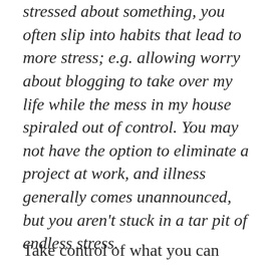stressed about something, you often slip into habits that lead to more stress; e.g. allowing worry about blogging to take over my life while the mess in my house spiraled out of control. You may not have the option to eliminate a project at work, and illness generally comes unannounced, but you aren't stuck in a tar pit of endless stress.
Take control of what you can